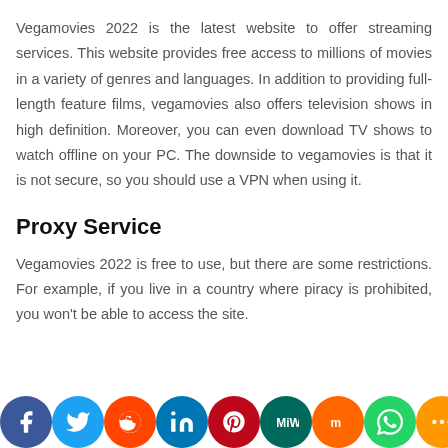Vegamovies 2022 is the latest website to offer streaming services. This website provides free access to millions of movies in a variety of genres and languages. In addition to providing full-length feature films, vegamovies also offers television shows in high definition. Moreover, you can even download TV shows to watch offline on your PC. The downside to vegamovies is that it is not secure, so you should use a VPN when using it.
Proxy Service
Vegamovies 2022 is free to use, but there are some restrictions. For example, if you live in a country where piracy is prohibited, you won't be able to access the site.
[Figure (other): Social media sharing icons bar: Facebook, Twitter, Reddit, LinkedIn, Pinterest, MeWe, Mix, WhatsApp, More]